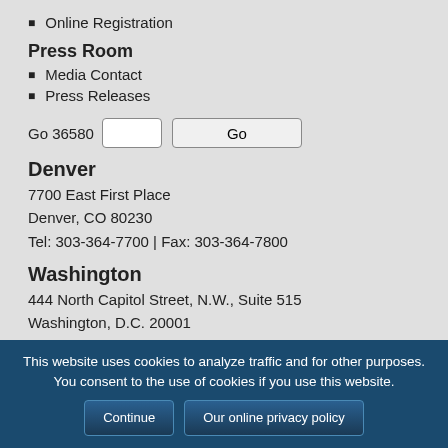Online Registration
Press Room
Media Contact
Press Releases
Go 36580
Denver
7700 East First Place
Denver, CO 80230
Tel: 303-364-7700 | Fax: 303-364-7800
Washington
444 North Capitol Street, N.W., Suite 515
Washington, D.C. 20001
Tel: 202-624-5400 | Fax: 202-737-1069
This website uses cookies to analyze traffic and for other purposes. You consent to the use of cookies if you use this website.